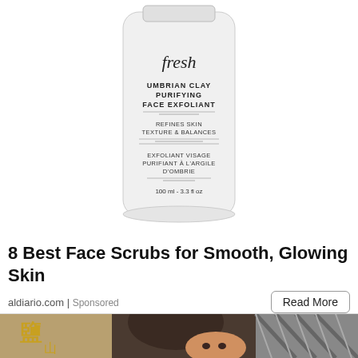[Figure (photo): White tube of Fresh Umbrian Clay Purifying Face Exfoliant product, 100ml - 3.3fl oz, on white background]
8 Best Face Scrubs for Smooth, Glowing Skin
aldiario.com | Sponsored
[Figure (photo): Photo showing back of a person's head and a baby's face, with Chinese characters visible on the left and a lattice/grid pattern on the right]